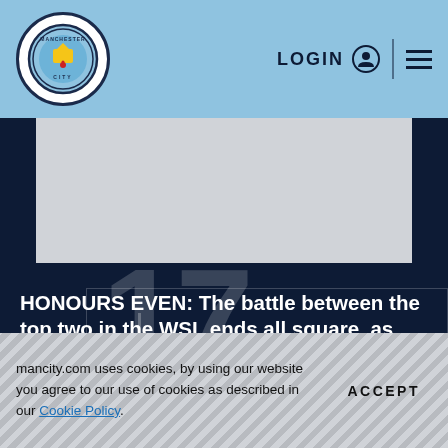LOGIN  ☰
[Figure (logo): Manchester City FC circular badge/logo on light blue navigation bar]
HONOURS EVEN: The battle between the top two in the WSL ends all square, as league leaders Chelsea hold on for a 2-2 draw
17
mancity.com uses cookies, by using our website you agree to our use of cookies as described in our Cookie Policy.
ACCEPT